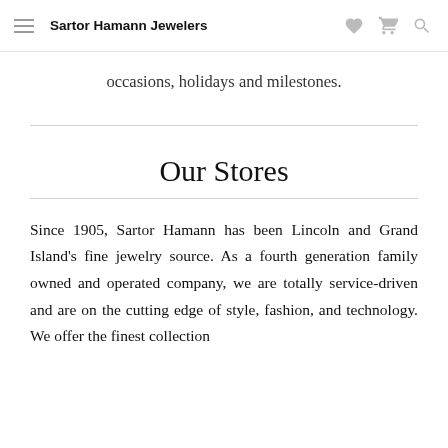Sartor Hamann Jewelers
occasions, holidays and milestones.
Our Stores
Since 1905, Sartor Hamann has been Lincoln and Grand Island's fine jewelry source. As a fourth generation family owned and operated company, we are totally service-driven and are on the cutting edge of style, fashion, and technology. We offer the finest collection...